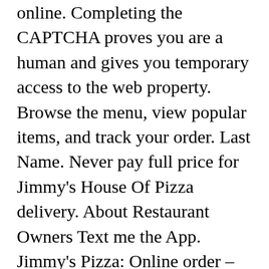online. Completing the CAPTCHA proves you are a human and gives you temporary access to the web property. Browse the menu, view popular items, and track your order. Last Name. Never pay full price for Jimmy's House Of Pizza delivery. About Restaurant Owners Text me the App. Jimmy's Pizza: Online order – See 73 traveler reviews, 11 candid photos, and great deals for Silver Bay, MN, at Tripadvisor. Available for takeout, delivery and catering. See the menu, prices, address, and more. Order PIZZA delivery from Jimmy's Pizza Cold Spring in Cold Spring instantly! (518) 899-2939 Weekdays 11:00am to 10:00pm // Friday and Saturday 11:00am - 11:00pm Please enable Cookies and reload the page. Louisville Carry